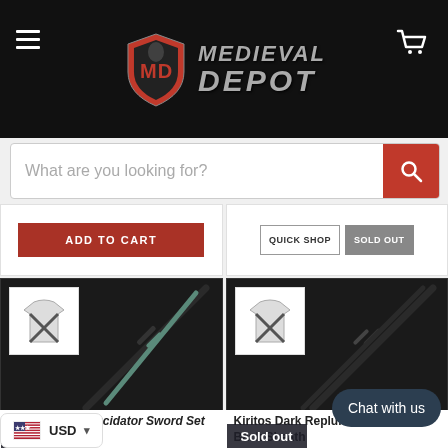Medieval Depot
What are you looking for?
ADD TO CART
QUICK SHOP  SOLD OUT
[Figure (photo): Product card showing Kiritos Dark Repulser Elucidator Sword Set with sword and back sheath harness thumbnail]
[Figure (photo): Product card showing Kiritos Dark Replulser Elucidator Back Sheath with swords and harness thumbnail]
Sold out
Sold out
USD
Chat with us
Kiritos Dark Repulser Elucidator Sword Set
Kiritos Dark Replulser Elucidator Back Sheath